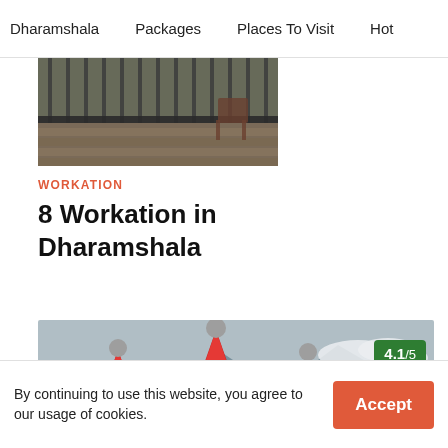Dharamshala    Packages    Places To Visit    Hot
[Figure (photo): Partial view of a balcony or terrace with wooden flooring and metal railings, cropped at top]
WORKATION
8 Workation in Dharamshala
[Figure (photo): Photo of a building with distinctive red conical roofs topped with metal spheres, set against a mountain backdrop with clouds. A green rating badge showing 4.1/5 appears in the top right corner.]
By continuing to use this website, you agree to our usage of cookies.